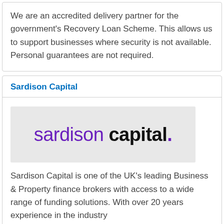We are an accredited delivery partner for the government's Recovery Loan Scheme. This allows us to support businesses where security is not available. Personal guarantees are not required.
Sardison Capital
[Figure (logo): Sardison Capital logo: 'sardison' in purple and 'capital.' in bold black on a light grey background]
Sardison Capital is one of the UK's leading Business & Property finance brokers with access to a wide range of funding solutions. With over 20 years experience in the industry